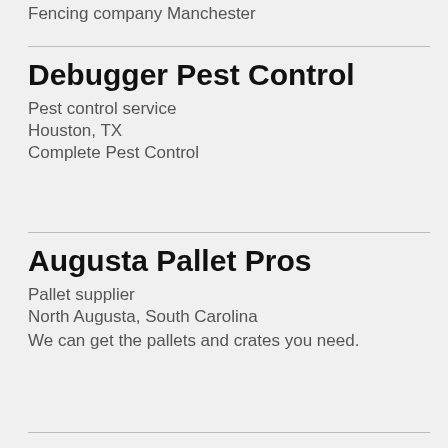Fencing company Manchester
Debugger Pest Control
Pest control service
Houston, TX
Complete Pest Control
Augusta Pallet Pros
Pallet supplier
North Augusta, South Carolina
We can get the pallets and crates you need.